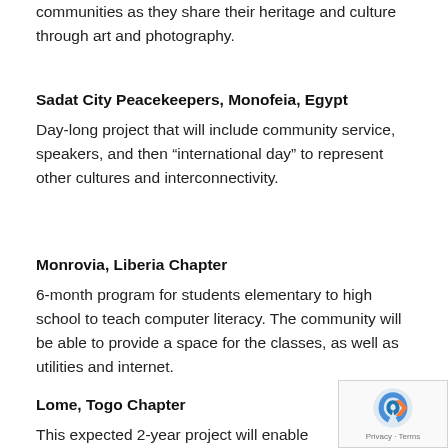communities as they share their heritage and culture through art and photography.
Sadat City Peacekeepers, Monofeia, Egypt
Day-long project that will include community service, speakers, and then “international day” to represent other cultures and interconnectivity.
Monrovia, Liberia Chapter
6-month program for students elementary to high school to teach computer literacy. The community will be able to provide a space for the classes, as well as utilities and internet.
Lome, Togo Chapter
This expected 2-year project will enable